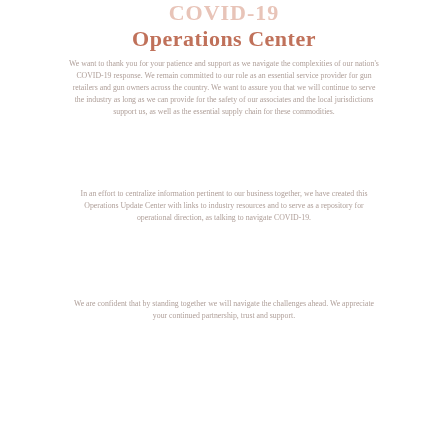COVID-19 Operations Center
We want to thank you for your patience and support as we navigate the complexities of our nation's COVID-19 response. We remain committed to our role as an essential service provider for gun retailers and gun owners across the country. We want to assure you that we will continue to serve the industry as long as we can provide for the safety of our associates and the local jurisdictions support us, as well as the essential supply chain for these commodities.
In an effort to centralize information pertinent to our business together, we have created this Operations Update Center with links to industry resources and to serve as a repository for operational direction, as talking to navigate COVID-19.
We are confident that by standing together we will navigate the challenges ahead. We appreciate your continued partnership, trust and support.